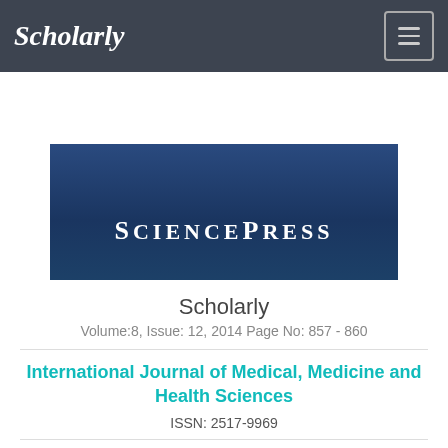Scholarly
[Figure (screenshot): SciencePress journal cover image with dark blue background, showing 'SCIENCEPRESS' in large text, 'Frequency: Monthly' and 'Peer Reviewed Journal' in italic text, with a sidebar strip on the left]
Scholarly
Volume:8, Issue: 12, 2014 Page No: 857 - 860
International Journal of Medical, Medicine and Health Sciences
ISSN: 2517-9969
Archive
Last Issue
Commitee